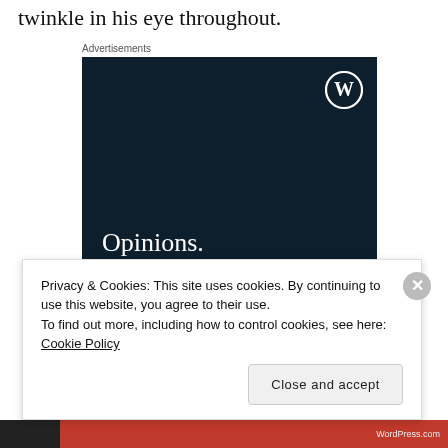twinkle in his eye throughout.
Advertisements
[Figure (illustration): WordPress advertisement with dark navy background, WordPress 'W' circle logo in top right, white serif text reading 'Opinions. We all have them!', pink button at bottom left, and gray circle at bottom right.]
Privacy & Cookies: This site uses cookies. By continuing to use this website, you agree to their use.
To find out more, including how to control cookies, see here: Cookie Policy
Close and accept